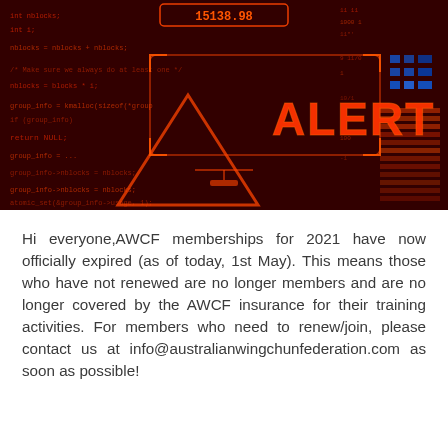[Figure (photo): Dark red digital alert image showing code overlaid with a large glowing orange 'ALERT' text and a warning triangle symbol on a dark red/black background with digital interface elements.]
Hi everyone,AWCF memberships for 2021 have now officially expired (as of today, 1st May). This means those who have not renewed are no longer members and are no longer covered by the AWCF insurance for their training activities. For members who need to renew/join, please contact us at info@australianwingchunfederation.com as soon as possible!